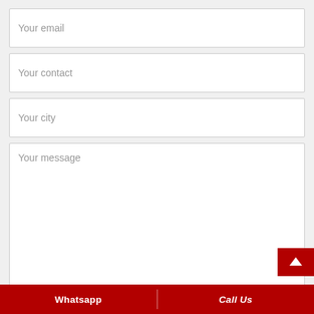Your email
Your contact
Your city
Your message
Whatsapp | Call Us